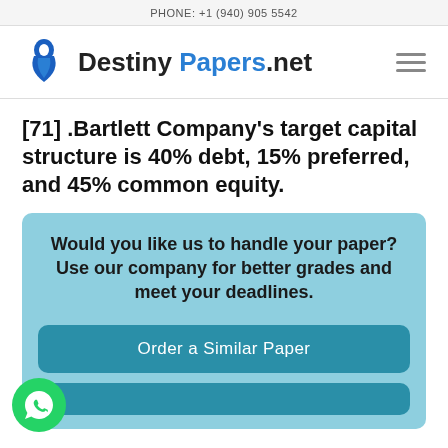PHONE: +1 (940) 905 5542
[Figure (logo): DestinyPapers.net logo with blue emblem and hamburger menu icon]
[71] .Bartlett Company's target capital structure is 40% debt, 15% preferred, and 45% common equity.
Would you like us to handle your paper? Use our company for better grades and meet your deadlines.
Order a Similar Paper